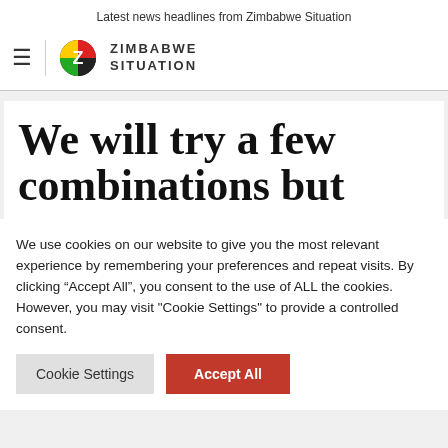Latest news headlines from Zimbabwe Situation
[Figure (logo): Zimbabwe Situation logo with hamburger menu, vertical divider, circular Z icon, and ZIMBABWE SITUATION text]
We will try a few combinations but
We use cookies on our website to give you the most relevant experience by remembering your preferences and repeat visits. By clicking “Accept All”, you consent to the use of ALL the cookies. However, you may visit "Cookie Settings" to provide a controlled consent.
Cookie Settings | Accept All